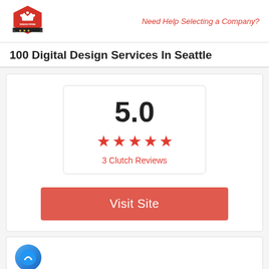[Figure (logo): Top Design Firms logo — red hexagonal badge with crown icon and banner]
Need Help Selecting a Company?
100 Digital Design Services In Seattle
[Figure (infographic): Rating box showing 5.0 with five red stars and '3 Clutch Reviews' label]
Visit Site
[Figure (logo): Blue circular logo at the bottom left of the second card]